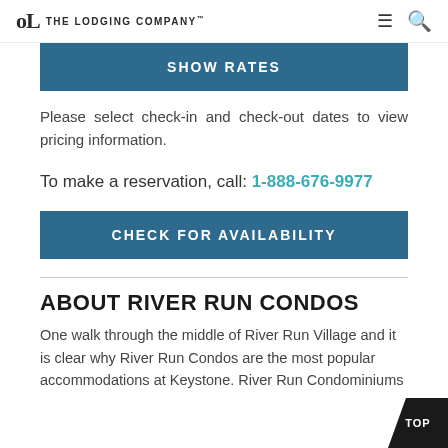The Lodging Company
SHOW RATES
Please select check-in and check-out dates to view pricing information.
To make a reservation, call: 1-888-676-9977
CHECK FOR AVAILABILITY
ABOUT RIVER RUN CONDOS
One walk through the middle of River Run Village and it is clear why River Run Condos are the most popular accommodations at Keystone. River Run Condominiums